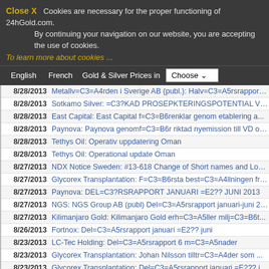Close X  Cookies are necessary for the proper functioning of 24hGold.com. By continuing your navigation on our website, you are accepting the use of cookies.
To learn more about cookies ...
English  French  Gold & Silver Prices in  Choose
| Date | Title |
| --- | --- |
| 8/28/2013 | Metallv=C3=A4rden i Sverige AB (publ.): Halv=C3=A5rsrapport ... |
| 8/28/2013 | Sotkamo Silver: =C3?KAD PROSEPKTERINGSPOTENTIAL VID SILVERG |
| 8/28/2013 | East Capital: East Capital f=C3=B6renklar genom etablering a... |
| 8/28/2013 | Paynova: Paynova genomf=C3=B6r riktad nyemission till VD och... |
| 8/28/2013 | Tethys Oil: Operativ uppdatering Oman |
| 8/28/2013 | Tethys Oil: Operational update Oman |
| 8/27/2013 | NDX Notice Sweden: #13-618 Change of Short names and Long na... |
| 8/27/2013 | Glycorex Transplantation: F=C3=B6rsta best=C3=A4llningen fr=... |
| 8/27/2013 | Paynova: DEL=C3?RSRAPPORT JANUARI =E2?? JUNI 2013 |
| 8/27/2013 | NGS: NGS Group AB (publ) Del=C3=A5rsrapport januari-juni 201... |
| 8/27/2013 | Kilimanjaro Gold: Kilimanjaro Gold erh=C3=A5ller milj=C3=B6t... |
| 8/26/2013 | Fortnox: Del=C3=A5rsrapport januari =E2?? juni |
| 8/23/2013 | LC-Tec Holding: Del=C3=A5rsrapport 6 m=C3=A5nader |
| 8/23/2013 | Glycorex Transplantation: Johan Nilsson tilltr=C3=A4der som ... |
| 8/23/2013 | Glycorex Transplantation: Del=C3=A5rsrapport januari =E2?? j... |
| 8/23/2013 | Ginger Oil: Halv=C3=A5rsrapport |
| 8/23/2013 | FINT AB: FINT senarel=C3=A4gger del=C3=A5rsrapporten januari... |
| 8/23/2013 | Guideline: Guideline Geo AB (publ) - Del=C3=A5rsrapport |
| 8/22/2013 | Shelton Petroleum AB: Kommunik=C3=A9 fr=C3=A5n extra bolagss... |
| 8/22/2013 | Shelton Petroleum AB: Communiqu=C3=A9 from Extraordinary Gen... |
| 8/22/2013 | NDX Notice Sweden: #13-606 Listing of Turbo warrants issued ... |
| 8/22/2013 | Rasta Group: Rasta Group AB (publ.) Del=C3=A5rsrapport janua |